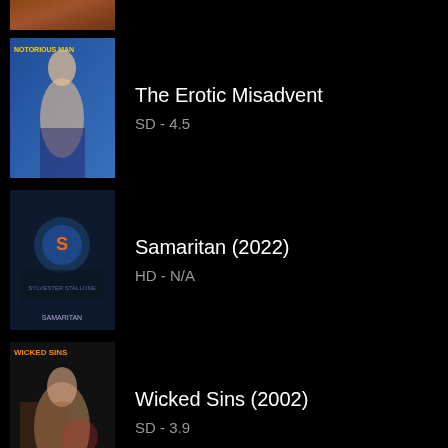The Erotic Misadvent
SD - 4.5
Samaritan (2022)
HD - N/A
Wicked Sins (2002)
SD - 3.9
Royalteen (2022)
HD - N/A
Private Obsession (1
SD - 5.1
Yu Pui Tsuen III (19
SD - 5.2